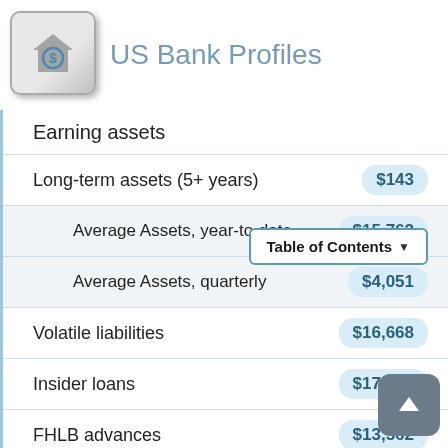US Bank Profiles
| Item | Value |
| --- | --- |
| Earning assets |  |
| Long-term assets (5+ years) | $143 |
| Average Assets, year-to-date | $15,762 |
| Average Assets, quarterly | $4,051 |
| Volatile liabilities | $16,668 |
| Insider loans | $17,070 |
| FHLB advances | $13,562 |
| Loans and leases held for sale | $17,61... |
| Unused loan commitments | $0 |